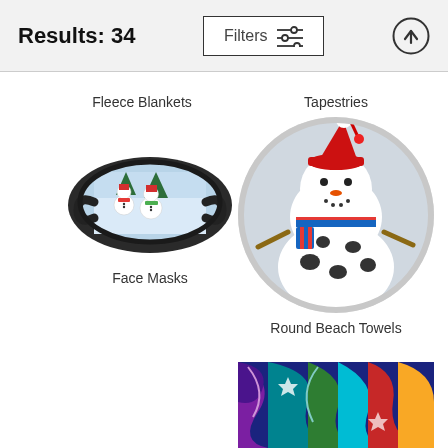Results: 34
Filters
Fleece Blankets
[Figure (photo): Face mask with Christmas snowman scene printed on it, with ear loops]
Face Masks
Tapestries
[Figure (photo): Round beach towel showing a snowman wearing a red Santa hat and striped scarf]
Round Beach Towels
[Figure (photo): Colorful abstract artwork with swirls and bright colors, partially visible at bottom]